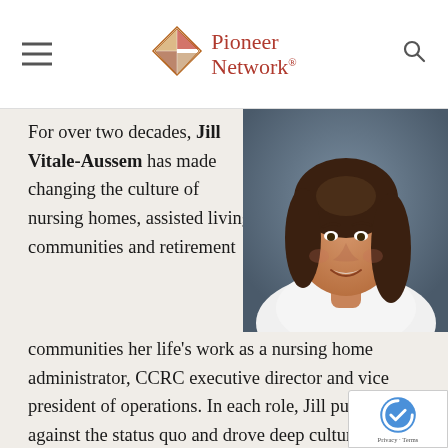Pioneer Network
For over two decades, Jill Vitale-Aussem has made changing the culture of nursing homes, assisted living communities and retirement communities her life's work as a nursing home administrator, CCRC executive director and vice president of operations. In each role, Jill pushed back against the status quo and drove deep cultural transformation in both for-profit and non-profit organizations. These efforts not only improved the quality of life for the people who lived and worked in her communities but led
[Figure (photo): Professional headshot of Jill Vitale-Aussem, a woman with shoulder-length brown hair, smiling, wearing a white top, against a dark blue-grey background.]